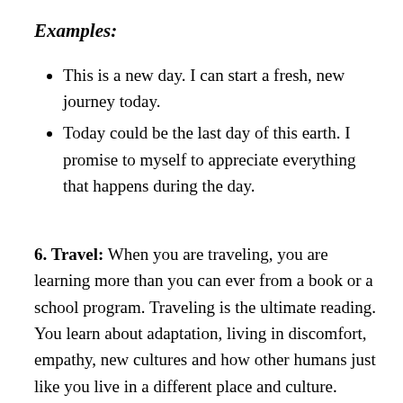Examples:
This is a new day. I can start a fresh, new journey today.
Today could be the last day of this earth. I promise to myself to appreciate everything that happens during the day.
6. Travel: When you are traveling, you are learning more than you can ever from a book or a school program. Traveling is the ultimate reading. You learn about adaptation, living in discomfort, empathy, new cultures and how other humans just like you live in a different place and culture.